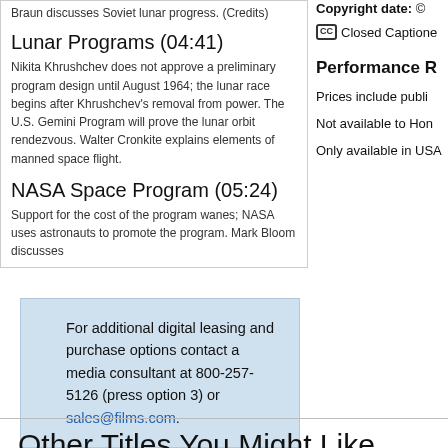Braun discusses Soviet lunar progress. (Credits)
Lunar Programs (04:41)
Nikita Khrushchev does not approve a preliminary program design until August 1964; the lunar race begins after Khrushchev's removal from power. The U.S. Gemini Program will prove the lunar orbit rendezvous. Walter Cronkite explains elements of manned space flight.
NASA Space Program (05:24)
Support for the cost of the program wanes; NASA uses astronauts to promote the program. Mark Bloom discusses
For additional digital leasing and purchase options contact a media consultant at 800-257-5126 (press option 3) or sales@films.com.
Copyright date: ©
Closed Captioned
Performance R
Prices include publi
Not available to Hon
Only available in USA
Other Titles You Might Like